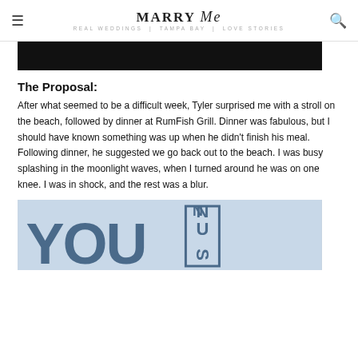MARRY Me Tampa Bay
[Figure (photo): Dark/black top image strip cropped at top of content]
The Proposal:
After what seemed to be a difficult week, Tyler surprised me with a stroll on the beach, followed by dinner at RumFish Grill. Dinner was fabulous, but I should have known something was up when he didn't finish his meal. Following dinner, he suggested we go back out to the beach. I was busy splashing in the moonlight waves, when I turned around he was on one knee. I was in shock, and the rest was a blur.
[Figure (photo): Bottom photo showing large letters 'YOU' and vertical text 'SUN' on a building exterior with light blue sky background]